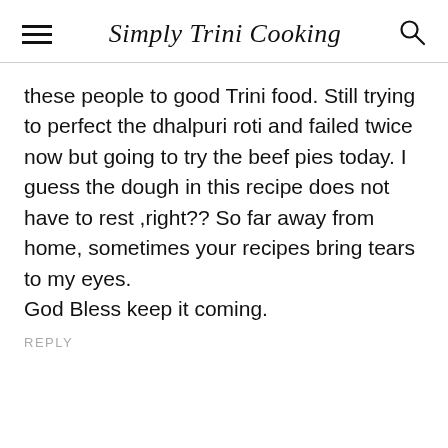Simply Trini Cooking
these people to good Trini food. Still trying to perfect the dhalpuri roti and failed twice now but going to try the beef pies today. I guess the dough in this recipe does not have to rest ,right?? So far away from home, sometimes your recipes bring tears to my eyes.
God Bless keep it coming.
REPLY